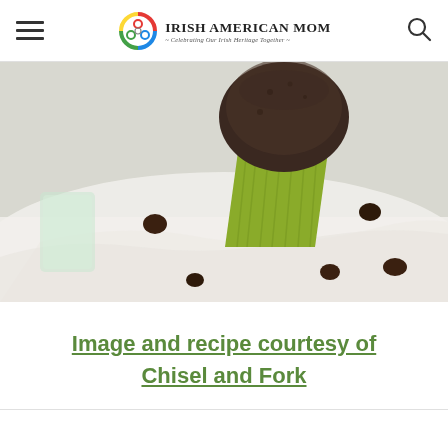Irish American Mom - Celebrating Our Irish Heritage Together
[Figure (photo): Close-up photo of a chocolate muffin in a green cupcake liner on a white cloth with chocolate chips scattered around]
Image and recipe courtesy of Chisel and Fork